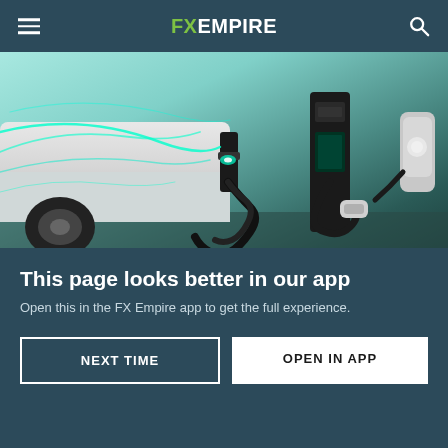FX EMPIRE
[Figure (photo): EV charging station with cables and green light effects, electric vehicle being charged]
Empire Financial Research
New Vehicle Shocks EV Market
[Figure (photo): Green and white financial/investment graphic with dots and leaf logo]
This page looks better in our app
Open this in the FX Empire app to get the full experience.
NEXT TIME
OPEN IN APP